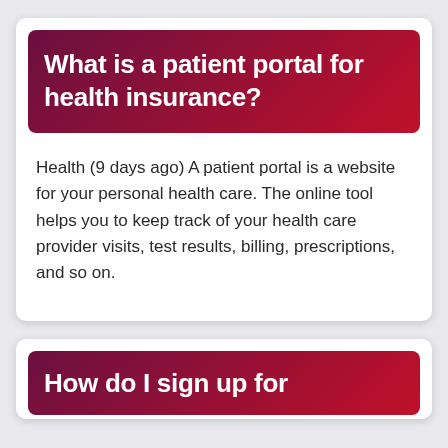What is a patient portal for health insurance?
Health (9 days ago) A patient portal is a website for your personal health care. The online tool helps you to keep track of your health care provider visits, test results, billing, prescriptions, and so on.
How do I sign up for